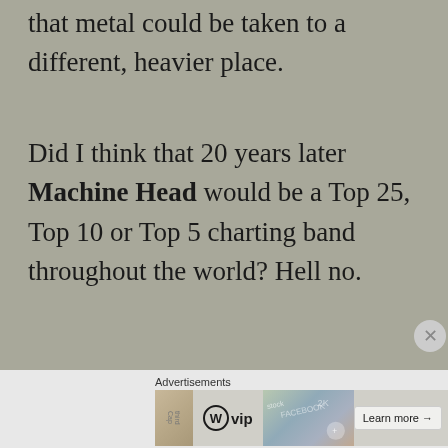that metal could be taken to a different, heavier place.
Did I think that 20 years later Machine Head would be a Top 25, Top 10 or Top 5 charting band throughout the world? Hell no.
[Figure (other): WordPress VIP advertisement banner with 'Learn more' button]
Advertisements